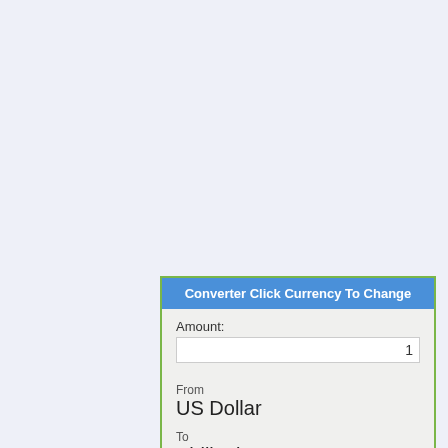Converter Click Currency To Change
Amount:
1
From
US Dollar
To
Philippine Peso
56.251